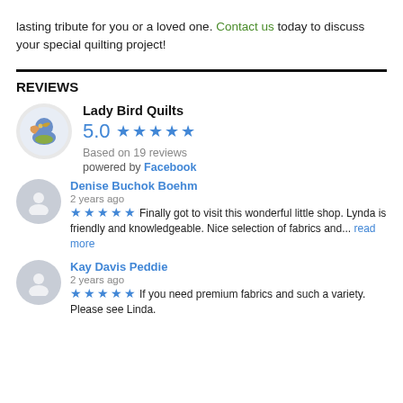lasting tribute for you or a loved one. Contact us today to discuss your special quilting project!
REVIEWS
Lady Bird Quilts
5.0 ★★★★★
Based on 19 reviews
powered by Facebook
Denise Buchok Boehm
2 years ago
★★★★★ Finally got to visit this wonderful little shop. Lynda is friendly and knowledgeable. Nice selection of fabrics and... read more
Kay Davis Peddie
2 years ago
★★★★★ If you need premium fabrics and such a variety. Please see Linda.